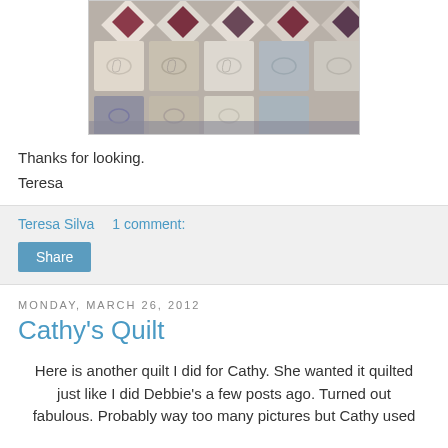[Figure (photo): Close-up photograph of a colorful quilt with geometric diamond and square patterns in various muted colors including cream, mauve, gray, blue, and green, with decorative swirl quilting patterns.]
Thanks for looking.
Teresa
Teresa Silva    1 comment:
Share
Monday, March 26, 2012
Cathy's Quilt
Here is another quilt I did for Cathy.  She wanted it quilted just like I did Debbie's a few posts ago.  Turned out fabulous.  Probably way too many pictures but Cathy used